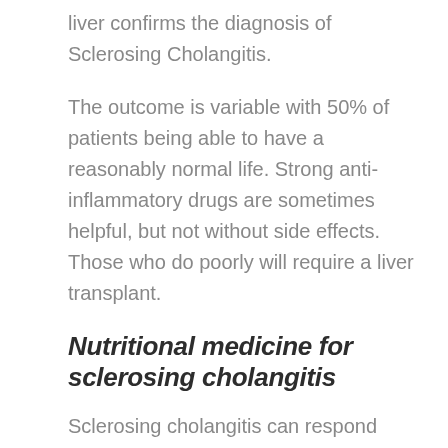liver confirms the diagnosis of Sclerosing Cholangitis.
The outcome is variable with 50% of patients being able to have a reasonably normal life. Strong anti-inflammatory drugs are sometimes helpful, but not without side effects. Those who do poorly will require a liver transplant.
Nutritional medicine for sclerosing cholangitis
Sclerosing cholangitis can respond very well to a change in the diet and I have had several patients with this problem who have been able to return their liver function to normal, after